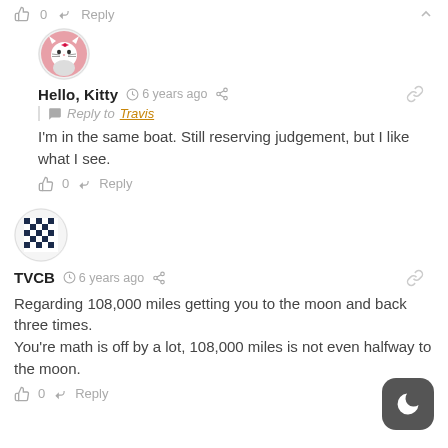👍 0  Reply  ∧
[Figure (illustration): Hello Kitty profile avatar — circular pink avatar with Hello Kitty character]
Hello, Kitty  🕐 6 years ago  🔗 | 💬 Reply to Travis
I'm in the same boat. Still reserving judgement, but I like what I see.
👍 0  Reply
[Figure (illustration): TVCB profile avatar — dark pixel-art style avatar on white circle]
TVCB  🕐 6 years ago  🔗
Regarding 108,000 miles getting you to the moon and back three times. You're math is off by a lot, 108,000 miles is not even halfway to the moon.
👍 0  Reply  ∧